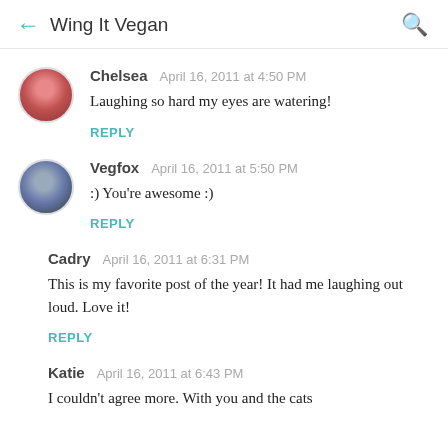Wing It Vegan
Chelsea  April 16, 2011 at 4:50 PM
Laughing so hard my eyes are watering!
REPLY
Vegfox  April 16, 2011 at 5:50 PM
:) You're awesome :)
REPLY
Cadry  April 16, 2011 at 6:31 PM
This is my favorite post of the year! It had me laughing out loud. Love it!
REPLY
Katie  April 16, 2011 at 6:43 PM
I couldn't agree more. With you and the cats